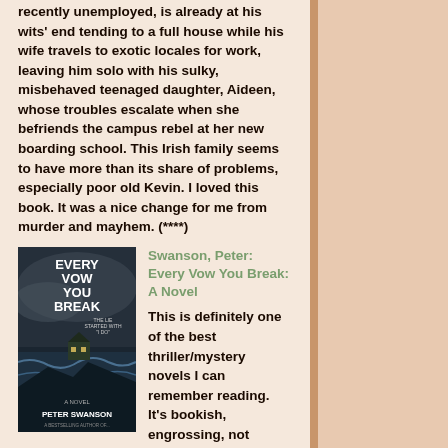recently unemployed, is already at his wits' end tending to a full house while his wife travels to exotic locales for work, leaving him solo with his sulky, misbehaved teenaged daughter, Aideen, whose troubles escalate when she befriends the campus rebel at her new boarding school. This Irish family seems to have more than its share of problems, especially poor old Kevin. I loved this book. It was a nice change for me from murder and mayhem. (****)
Swanson, Peter: Every Vow You Break: A Novel
[Figure (photo): Book cover of 'Every Vow You Break: A Novel' by Peter Swanson, showing a dark stormy coastal scene with a house on a cliff.]
This is definitely one of the best thriller/mystery novels I can remember reading. It's bookish, engrossing, not overly gory and impossible to solve. Every time I thought I had it figured out, I found out I didn't. It's cliche to say